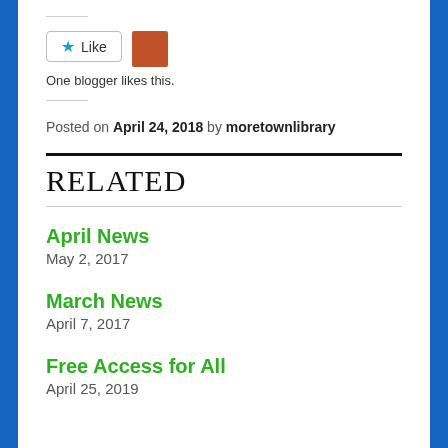[Figure (other): Like button with star icon and avatar thumbnail]
One blogger likes this.
Posted on April 24, 2018 by moretownlibrary
RELATED
April News
May 2, 2017
March News
April 7, 2017
Free Access for All
April 25, 2019